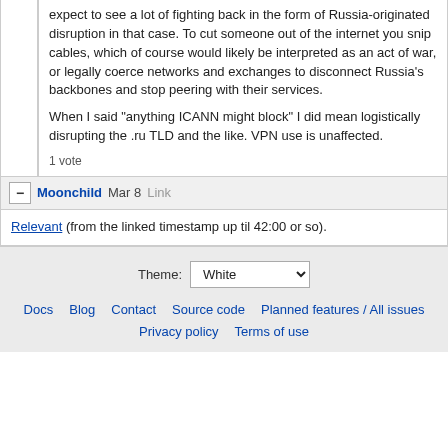expect to see a lot of fighting back in the form of Russia-originated disruption in that case. To cut someone out of the internet you snip cables, which of course would likely be interpreted as an act of war, or legally coerce networks and exchanges to disconnect Russia's backbones and stop peering with their services.

When I said "anything ICANN might block" I did mean logistically disrupting the .ru TLD and the like. VPN use is unaffected.
1 vote
Moonchild  Mar 8  Link
Relevant (from the linked timestamp up til 42:00 or so).
Theme: White
Docs  Blog  Contact  Source code  Planned features / All issues
Privacy policy  Terms of use